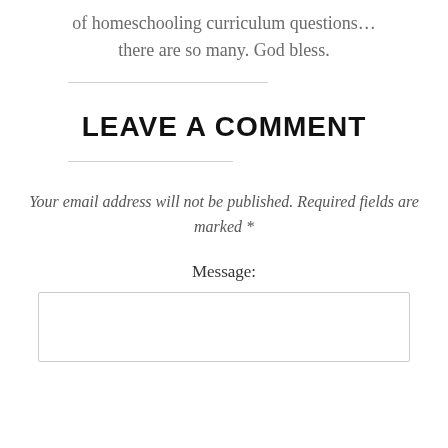of homeschooling curriculum questions…there are so many. God bless.
LEAVE A COMMENT
Your email address will not be published. Required fields are marked *
Message: